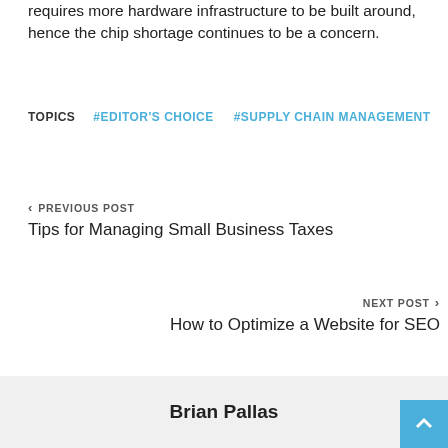requires more hardware infrastructure to be built around, hence the chip shortage continues to be a concern.
TOPICS   #EDITOR'S CHOICE   #SUPPLY CHAIN MANAGEMENT
< PREVIOUS POST
Tips for Managing Small Business Taxes
NEXT POST >
How to Optimize a Website for SEO
Brian Pallas